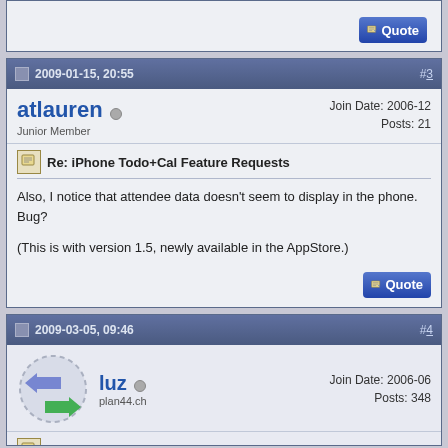[Figure (screenshot): Top stub of a forum post showing only a Quote button in the bottom right]
2009-01-15, 20:55  #3
atlauren  Junior Member  Join Date: 2006-12  Posts: 21
Re: iPhone Todo+Cal Feature Requests
Also, I notice that attendee data doesn't seem to display in the phone. Bug?

(This is with version 1.5, newly available in the AppStore.)
2009-03-05, 09:46  #4
luz  plan44.ch  Join Date: 2006-06  Posts: 348
Re: iPhone Todo+Cal Feature Requests
Quote:
Originally Posted by atlauren
Also, I notice that attendee data doesn't seem to